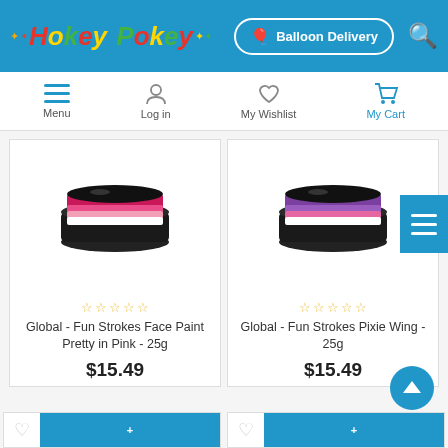[Figure (screenshot): Hokey Pokey website header with colorful logo, Balloon Delivery button, and search icon on blue background]
[Figure (screenshot): Navigation bar with Menu, Log in, My Wishlist, and My Cart icons]
[Figure (photo): Global - Fun Strokes Face Paint Pretty in Pink - 25g product image showing a black compact with pink/magenta/white striped paint]
Global - Fun Strokes Face Paint Pretty in Pink - 25g
$15.49
[Figure (photo): Global - Fun Strokes Pixie Wing - 25g product image showing a black compact with purple/pink/white striped paint]
Global - Fun Strokes Pixie Wing - 25g
$15.49